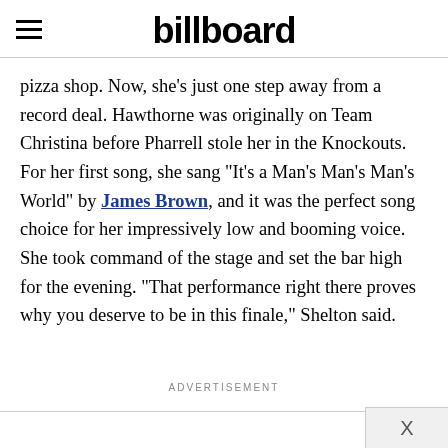billboard
pizza shop. Now, she’s just one step away from a record deal. Hawthorne was originally on Team Christina before Pharrell stole her in the Knockouts. For her first song, she sang “It’s a Man’s Man’s Man’s World” by James Brown, and it was the perfect song choice for her impressively low and booming voice. She took command of the stage and set the bar high for the evening. “That performance right there proves why you deserve to be in this finale,” Shelton said.
ADVERTISEMENT